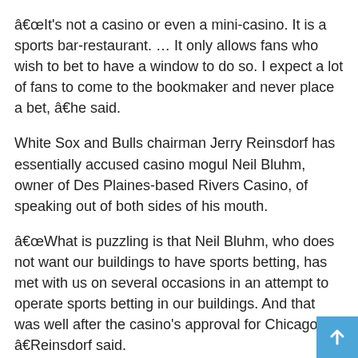“It’s not a casino or even a mini-casino. It is a sports bar-restaurant. … It only allows fans who wish to bet to have a window to do so. I expect a lot of fans to come to the bookmaker and never place a bet, ” he said.
White Sox and Bulls chairman Jerry Reinsdorf has essentially accused casino mogul Neil Bluhm, owner of Des Plaines-based Rivers Casino, of speaking out of both sides of his mouth.
“What is puzzling is that Neil Bluhm, who does not want our buildings to have sports betting, has met with us on several occasions in an attempt to operate sports betting in our buildings. And that was well after the casino’s approval for Chicago, ” Reinsdorf said.
“At that time, he had no assurance that he would be chosen to operate a casino in Chicago and was not concerned that these books would in any way cannibalize whoever would be chosen to operate the casino. It makes me wonder if he was